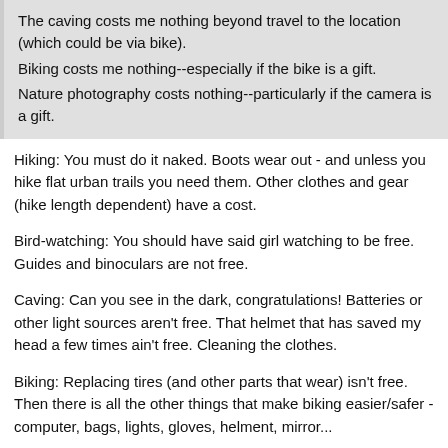The caving costs me nothing beyond travel to the location (which could be via bike).
Biking costs me nothing--especially if the bike is a gift.
Nature photography costs nothing--particularly if the camera is a gift.
Hiking: You must do it naked. Boots wear out - and unless you hike flat urban trails you need them. Other clothes and gear (hike length dependent) have a cost.
Bird-watching: You should have said girl watching to be free. Guides and binoculars are not free.
Caving: Can you see in the dark, congratulations! Batteries or other light sources aren't free. That helmet that has saved my head a few times ain't free. Cleaning the clothes.
Biking: Replacing tires (and other parts that wear) isn't free. Then there is all the other things that make biking easier/safer - computer, bags, lights, gloves, helment, mirror...
Photography: Covered in prior post.